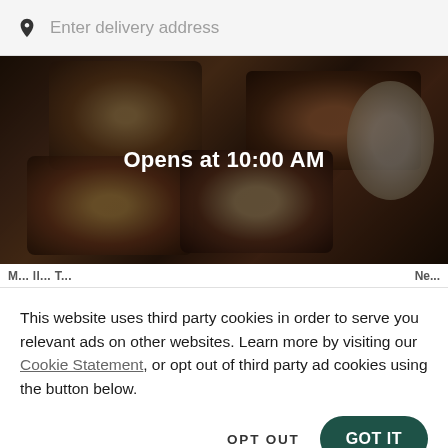Enter delivery address
[Figure (photo): Food delivery photo showing various Mexican food items in containers with a dark overlay. Text reads 'Opens at 10:00 AM']
This website uses third party cookies in order to serve you relevant ads on other websites. Learn more by visiting our Cookie Statement, or opt out of third party ad cookies using the button below.
OPT OUT
GOT IT